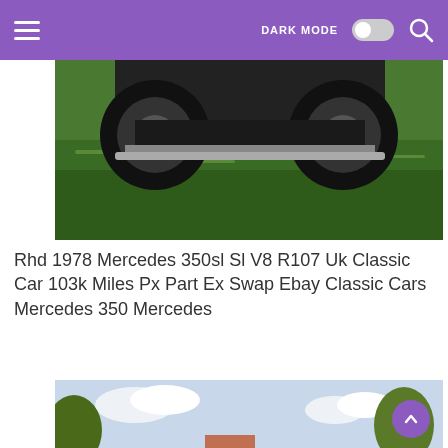DARK MODE (toggle) [search icon]
[Figure (photo): Close-up front/underside of a classic Mercedes car on green grass, partial view showing tires and bumper area]
Rhd 1978 Mercedes 350sl Sl V8 R107 Uk Classic Car 103k Miles Px Part Ex Swap Ebay Classic Cars Mercedes 350 Mercedes
[Figure (photo): A gray Mercedes-Benz 380SL/350SL convertible roadster parked in a parking lot, trees and sky in background, yellow bollards visible]